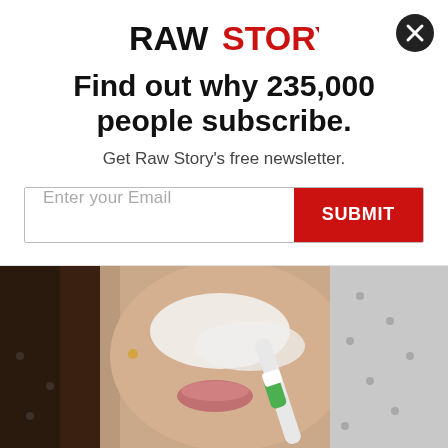[Figure (logo): Raw Story logo — RAW in black bold, STORY in red bold]
Find out why 235,000 people subscribe.
Get Raw Story's free newsletter.
[Figure (screenshot): Email input field with placeholder 'Enter your Email' and red SUBMIT button]
[Figure (photo): Close-up photo of a woman applying something white (cream/foam) to her face with a toothbrush-like tool, wearing a patterned shirt]
Getting Rid of Moles & Skin Tags Has Never Been So Simple